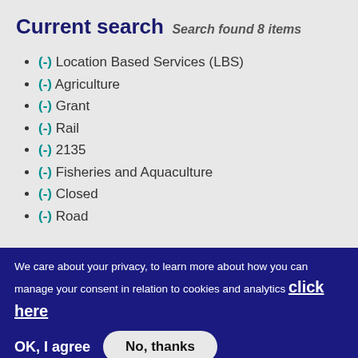Current search
Search found 8 items
(-) Location Based Services (LBS)
(-) Agriculture
(-) Grant
(-) Rail
(-) 2135
(-) Fisheries and Aquaculture
(-) Closed
(-) Road
We care about your privacy, to learn more about how you can manage your consent in relation to cookies and analytics click here
OK, I agree   No, thanks